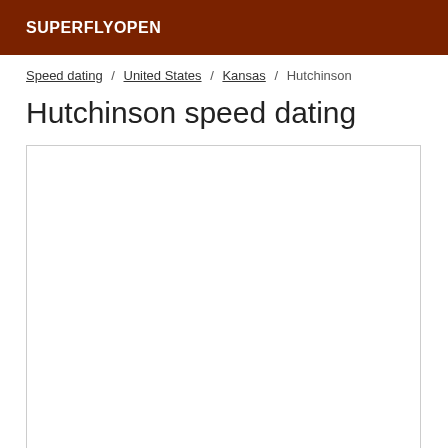SUPERFLYOPEN
Speed dating / United States / Kansas / Hutchinson
Hutchinson speed dating
[Figure (other): Empty white content box with border, likely a placeholder for map or event listings]